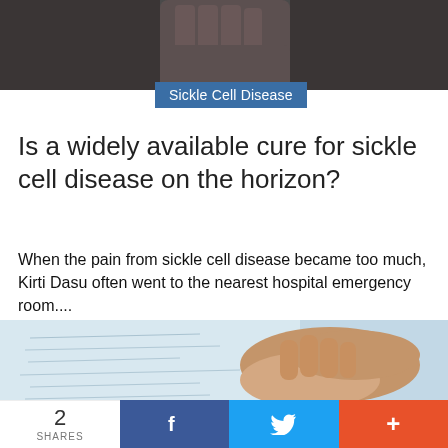[Figure (photo): Close-up of a person's fist near their face, dark background]
Sickle Cell Disease
Is a widely available cure for sickle cell disease on the horizon?
When the pain from sickle cell disease became too much, Kirti Dasu often went to the nearest hospital emergency room....
[Figure (photo): Two hands clasped together over handwritten notes/paper]
2 SHARES  f  Twitter  +